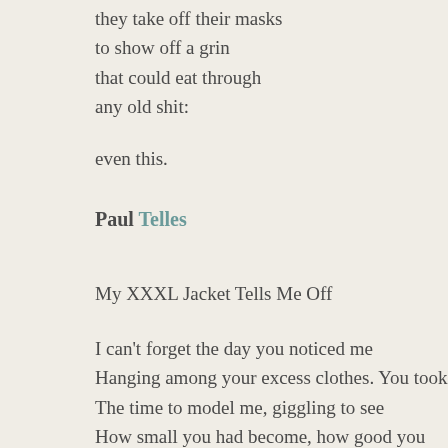they take off their masks
to show off a grin
that could eat through
any old shit:

even this.
Paul Telles
My XXXL Jacket Tells Me Off
I can't forget the day you noticed me
Hanging among your excess clothes. You took
The time to model me, giggling to see
How small you had become, how good you looked.
We were close once, meeting each day to hide